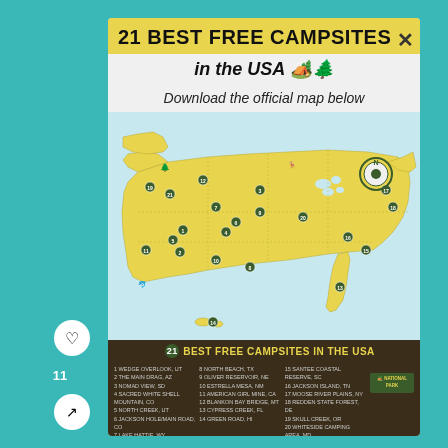21 BEST FREE CAMPSITES
in the USA 🏕️🌲
Download the official map below
[Figure (map): Illustrated map of the USA showing 21 numbered best free campsite locations across the country, with decorative illustrations of wildlife, trees, and landmarks at each site. The map has a yellow/gold base color for land and white for water/coastlines.]
21 BEST FREE CAMPSITES IN THE USA
1 WEDGE OVERLOOK, UT 2 THE MAIN DRAG, AZ 3 NOMAD VIEW, SD 4 SACRED WHITE SHELL MOUNTAIN, CO 5 NORTH CREEK, UT 6 JACKSON HOLE/MAIN ROAD, CO 7 LAKE HATTIE, WY 8 NORTH BEACH, TX 9 OLIVER RESERVOIR, NE 10 ESTRELLA MESA, NM 11 AMERICAN GIRL MINE, CA 12 BLANKON BAY BRIDGE, MT 13 CYPRESS CREEK, FL 14 GREEN ROAD, HI 15 SANTEE COASTAL RESERVE, SC 16 JACKSON ISLAND, TN 17 MOOSE RIVER PLAINS, NY 18 REDDEN STATE FOREST, DE 19 SKULL CREEK, OR 20 WHITESIDE CAMPING AREA, MD 21 LAKE CREEK ROAD, ID